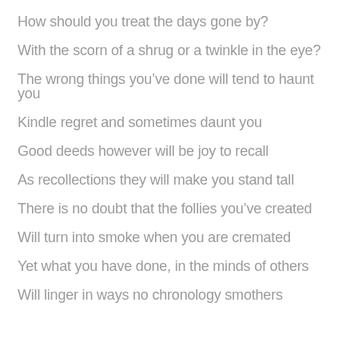How should you treat the days gone by?
With the scorn of a shrug or a twinkle in the eye?
The wrong things you’ve done will tend to haunt you
Kindle regret and sometimes daunt you
Good deeds however will be joy to recall
As recollections they will make you stand tall
There is no doubt that the follies you’ve created
Will turn into smoke when you are cremated
Yet what you have done, in the minds of others
Will linger in ways no chronology smothers